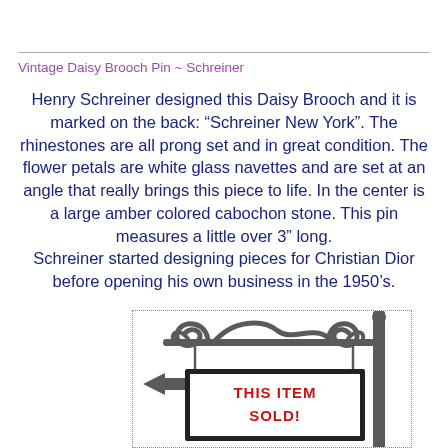Vintage Daisy Brooch Pin ~ Schreiner
Henry Schreiner designed this Daisy Brooch and it is marked on the back: “Schreiner New York”. The rhinestones are all prong set and in great condition. The flower petals are white glass navettes and are set at an angle that really brings this piece to life. In the center is a large amber colored cabochon stone. This pin measures a little over 3” long. Schreiner started designing pieces for Christian Dior before opening his own business in the 1950’s.
[Figure (illustration): A decorative iron real-estate-style sold sign with ornate scrollwork on top, a vertical post on the right, a left-pointing arrow on the left, and a sign board reading THIS ITEM SOLD! in bold red letters on a white background with a black border.]